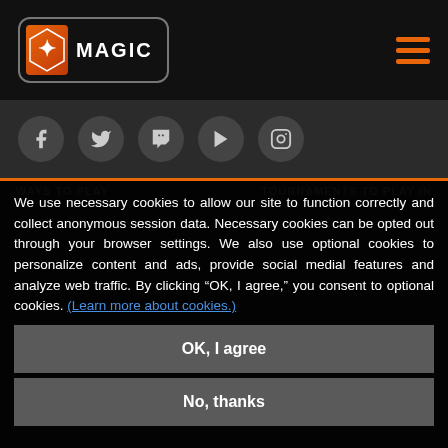[Figure (logo): Magic: The Gathering logo with planeswalker symbol on black rounded rectangle background]
[Figure (infographic): Social media icons row: Facebook, Twitter, Twitch, YouTube, Instagram in dark circle buttons]
WAYS TO PLAY    TOURNAMENTS TO PLAY IN
We use necessary cookies to allow our site to function correctly and collect anonymous session data. Necessary cookies can be opted out through your browser settings. We also use optional cookies to personalize content and ads, provide social medial features and analyze web traffic. By clicking “OK, I agree,” you consent to optional cookies. (Learn more about cookies.)
OK, I agree
No, thanks